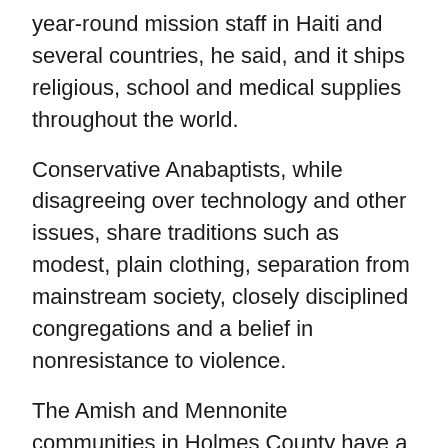year-round mission staff in Haiti and several countries, he said, and it ships religious, school and medical supplies throughout the world.
Conservative Anabaptists, while disagreeing over technology and other issues, share traditions such as modest, plain clothing, separation from mainstream society, closely disciplined congregations and a belief in nonresistance to violence.
The Amish and Mennonite communities in Holmes County have a close connection with missionary organizations serving Haiti.
Every September at the Ohio Haiti Benefit Auction, handmade furniture, quilts, firewood and tools are sold, and barbecue chicken and Haitian beans and rice